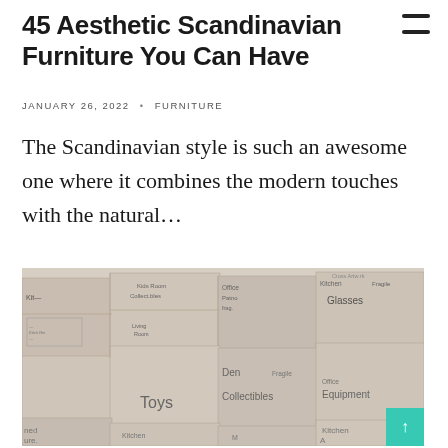45 Aesthetic Scandinavian Furniture You Can Have
JANUARY 26, 2022 • FURNITURE
The Scandinavian style is such an awesome one where it combines the modern touches with the natural...
[Figure (photo): Stack of labeled cardboard moving boxes with handwritten labels including Toys, Kitchen, Office, Den, Collectibles, Glasses, Equipment, Fragile, Kids Room]